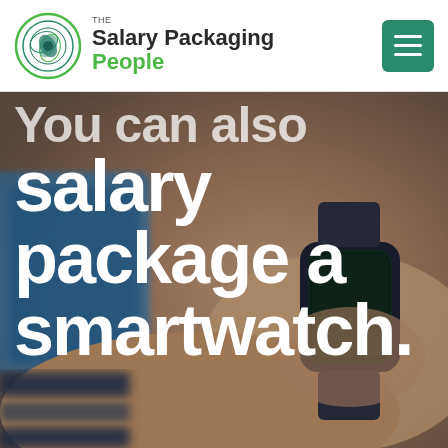THE Salary Packaging People
[Figure (photo): Hero image showing a smartwatch on a person's wrist with a blurred background including a blue tablet device. Large white text overlay reads 'You can also salary package a smartwatch.']
You can also salary package a smartwatch.